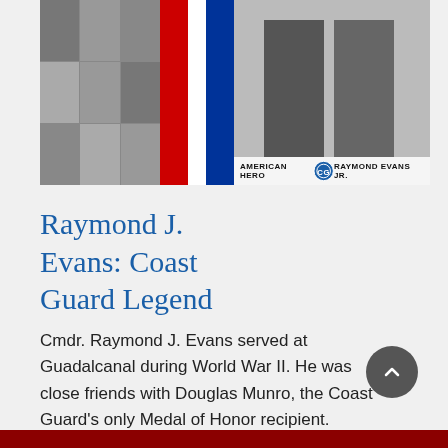[Figure (photo): Book cover for 'Raymond Evans Jr. - American Hero' showing a black-and-white photo collage on the left, diagonal red/white/blue stripes in the center, and a portrait of two men in uniform on the right. Caption bar reads 'AMERICAN HERO' and 'RAYMOND EVANS JR.' with a Coast Guard medallion in the center.]
Raymond J. Evans: Coast Guard Legend
Cmdr. Raymond J. Evans served at Guadalcanal during World War II. He was close friends with Douglas Munro, the Coast Guard's only Medal of Honor recipient.